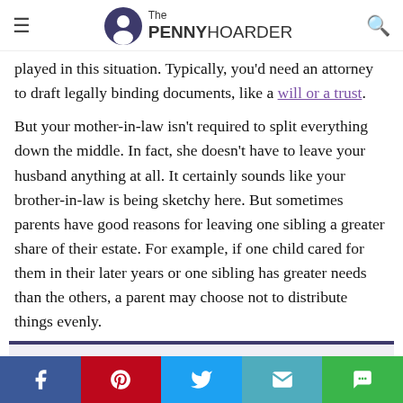The PENNY HOARDER
played in this situation. Typically, you'd need an attorney to draft legally binding documents, like a will or a trust.
But your mother-in-law isn't required to split everything down the middle. In fact, she doesn't have to leave your husband anything at all. It certainly sounds like your brother-in-law is being sketchy here. But sometimes parents have good reasons for leaving one sibling a greater share of their estate. For example, if one child cared for them in their later years or one sibling has greater needs than the others, a parent may choose not to distribute things evenly.
Write Dear Penny
Have a tough money question? Dear Penny